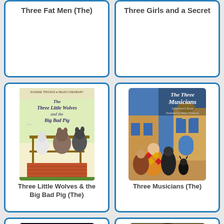Three Fat Men (The)
Three Girls and a Secret
[Figure (photo): Book cover of 'The Three Little Wolves and the Big Bad Pig' showing cartoon wolves and pig on scaffolding]
Three Little Wolves & the Big Bad Pig (The)
[Figure (photo): Book cover of 'The Three Musicians' showing illustrated musicians in colorful costumes on a street]
Three Musicians (The)
[Figure (photo): Book cover of a Jostein Gaarder book with dark space background and glowing figure]
[Figure (photo): Book cover of 'Thura's Diary' showing a young woman's face]